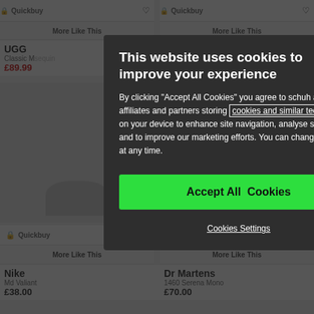[Figure (screenshot): E-commerce shoe product grid showing UGG, Converse, Nike, Dr Martens products with Quickbuy buttons, More Like This links, and heart wishlist icons. Background is dimmed behind a cookie consent modal overlay.]
This website uses cookies to improve your experience
By clicking "Accept All Cookies" you agree to schuh and our affiliates and partners storing cookies and similar technologies on your device to enhance site navigation, analyse site usage, and to improve our marketing efforts. You can change your mind at any time.
Accept All Cookies
Cookies Settings